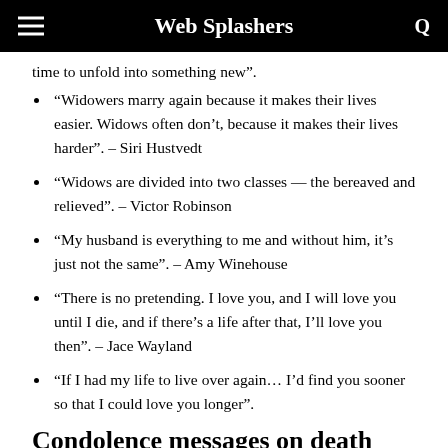Web Splashers
time to unfold into something new”.
“Widowers marry again because it makes their lives easier. Widows often don’t, because it makes their lives harder”. – Siri Hustvedt
“Widows are divided into two classes — the bereaved and relieved”. – Victor Robinson
“My husband is everything to me and without him, it’s just not the same”. – Amy Winehouse
“There is no pretending. I love you, and I will love you until I die, and if there’s a life after that, I’ll love you then”. – Jace Wayland
“If I had my life to live over again… I’d find you sooner so that I could love you longer”.
Condolence messages on death